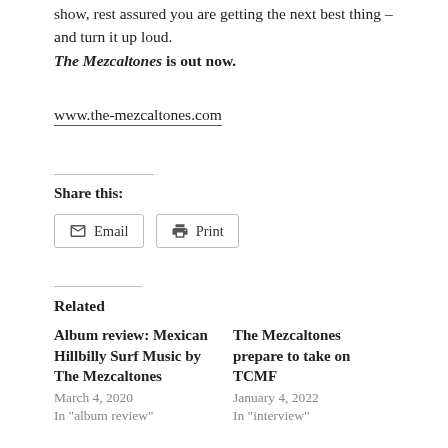show, rest assured you are getting the next best thing – and turn it up loud. The Mezcaltones is out now.
www.the-mezcaltones.com
Share this:
Email   Print
Related
Album review: Mexican Hillbilly Surf Music by The Mezcaltones
March 4, 2020
In "album review"
The Mezcaltones prepare to take on TCMF
January 4, 2022
In "interview"